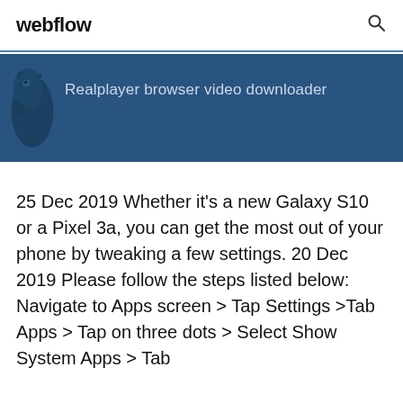webflow
[Figure (screenshot): Dark blue banner area with a decorative bird silhouette on the left and the text 'Realplayer browser video downloader' in light blue-grey color]
25 Dec 2019 Whether it's a new Galaxy S10 or a Pixel 3a, you can get the most out of your phone by tweaking a few settings. 20 Dec 2019 Please follow the steps listed below: Navigate to Apps screen > Tap Settings >Tab Apps > Tap on three dots > Select Show System Apps > Tab